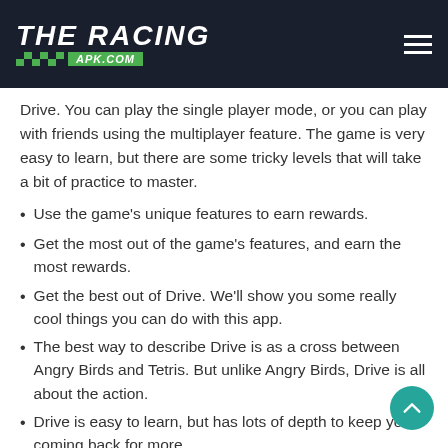THE RACING APK.COM
Drive. You can play the single player mode, or you can play with friends using the multiplayer feature. The game is very easy to learn, but there are some tricky levels that will take a bit of practice to master.
Use the game's unique features to earn rewards.
Get the most out of the game's features, and earn the most rewards.
Get the best out of Drive. We'll show you some really cool things you can do with this app.
The best way to describe Drive is as a cross between Angry Birds and Tetris. But unlike Angry Birds, Drive is all about the action.
Drive is easy to learn, but has lots of depth to keep you coming back for more.
Drive has a ton of content. There are over 50 levels and a